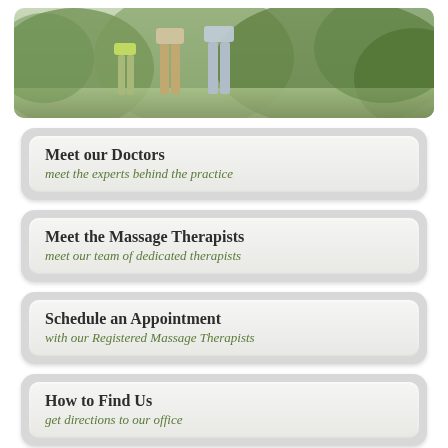[Figure (photo): A photo banner showing people walking outdoors, cropped to show lower bodies/legs, with green foliage in the background.]
Meet our Doctors
meet the experts behind the practice
Meet the Massage Therapists
meet our team of dedicated therapists
Schedule an Appointment
with our Registered Massage Therapists
How to Find Us
get directions to our office